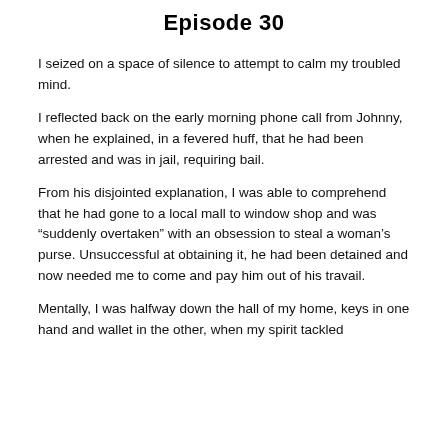Episode 30
I seized on a space of silence to attempt to calm my troubled mind.
I reflected back on the early morning phone call from Johnny, when he explained, in a fevered huff, that he had been arrested and was in jail, requiring bail.
From his disjointed explanation, I was able to comprehend that he had gone to a local mall to window shop and was “suddenly overtaken” with an obsession to steal a woman’s purse. Unsuccessful at obtaining it, he had been detained and now needed me to come and pay him out of his travail.
Mentally, I was halfway down the hall of my home, keys in one hand and wallet in the other, when my spirit tackled...